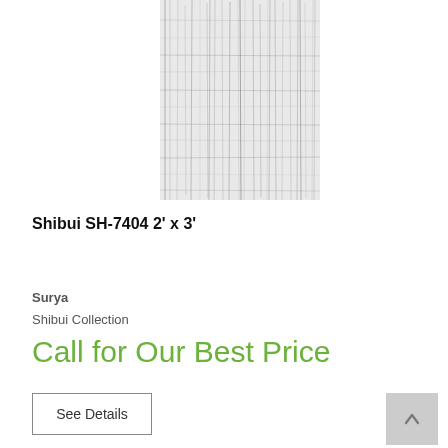[Figure (photo): Product photo of Shibui SH-7404 rug — light gray/white textured rug with dark thin irregular grid-like line pattern suggesting a woven/striated texture.]
Shibui SH-7404 2' x 3'
Surya
Shibui Collection
Call for Our Best Price
See Details